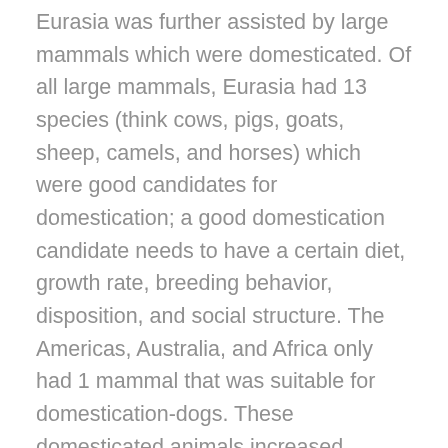Eurasia was further assisted by large mammals which were domesticated. Of all large mammals, Eurasia had 13 species (think cows, pigs, goats, sheep, camels, and horses) which were good candidates for domestication; a good domestication candidate needs to have a certain diet, growth rate, breeding behavior, disposition, and social structure. The Americas, Australia, and Africa only had 1 mammal that was suitable for domestication-dogs. These domesticated animals increased agricultural yield, provided food, and transferred germs to humans. Domesticated animals are the source of some of mankind's most deadly diseases: Measles (cattle), Tuberculosis (cattle), Smallpox (cattle), Flu (pigs and ducks), Pertussis (pigs, dogs), Falciparum malaria (chickens and ducks), etc. This exposure to germs would eventually wipe out the majority of New World inhabitants and make it possible for Europeans to